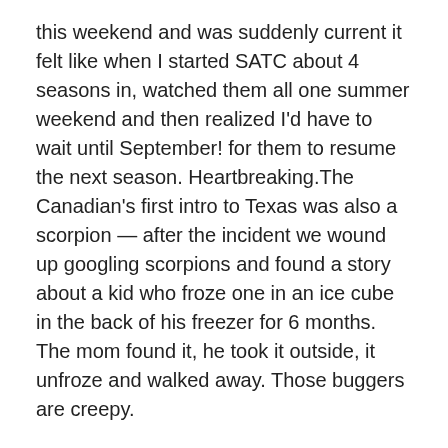this weekend and was suddenly current it felt like when I started SATC about 4 seasons in, watched them all one summer weekend and then realized I'd have to wait until September! for them to resume the next season. Heartbreaking.The Canadian's first intro to Texas was also a scorpion — after the incident we wound up googling scorpions and found a story about a kid who froze one in an ice cube in the back of his freezer for 6 months. The mom found it, he took it outside, it unfroze and walked away. Those buggers are creepy.
★ Like
Reply